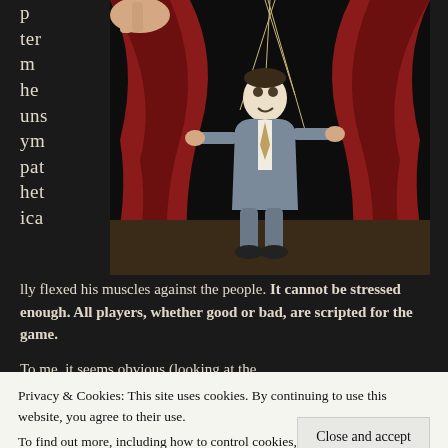[Figure (photo): A man depicted as a marionette puppet hanging from strings on a theatrical stage with red curtains, with a large hand visible at top left controlling the strings.]
p ter m he uns ym pat het ica lly flexed his muscles against the people. It cannot be stressed enough. All players, whether good or bad, are scripted for the game.

To me, it seems obvious (looking at the
Privacy & Cookies: This site uses cookies. By continuing to use this website, you agree to their use.
To find out more, including how to control cookies, see here:
Cookie Policy
[Figure (photo): Bottom strip showing partial faces/portraits of people.]